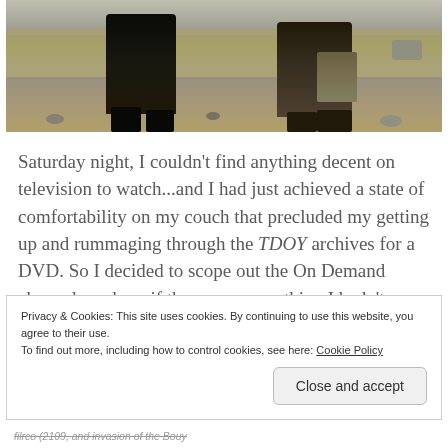[Figure (photo): Two people kneeling on rocky desert ground, viewed from behind, wearing dark clothing and boots]
Saturday night, I couldn't find anything decent on television to watch...and I had just achieved a state of comfortability on my couch that precluded my getting up and rummaging through the TDOY archives for a DVD. So I decided to scope out the On Demand channels and see if there was something I hadn't seen.
Privacy & Cookies: This site uses cookies. By continuing to use this website, you agree to their use.
To find out more, including how to control cookies, see here: Cookie Policy
Close and accept
filrco (2109, and invasion of the Bouy